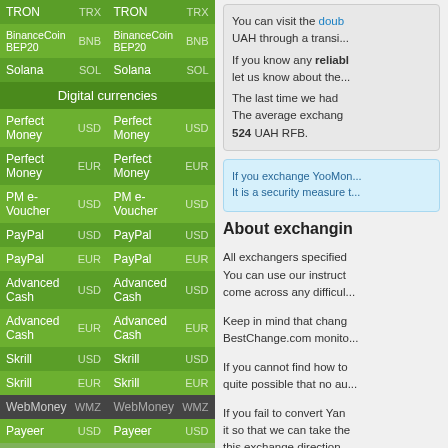| Currency | Code | Currency | Code |
| --- | --- | --- | --- |
| TRON | TRX | TRON | TRX |
| BinanceCoin BEP20 | BNB | BinanceCoin BEP20 | BNB |
| Solana | SOL | Solana | SOL |
| Digital currencies |  |  |  |
| Perfect Money | USD | Perfect Money | USD |
| Perfect Money | EUR | Perfect Money | EUR |
| PM e-Voucher | USD | PM e-Voucher | USD |
| PayPal | USD | PayPal | USD |
| PayPal | EUR | PayPal | EUR |
| Advanced Cash | USD | Advanced Cash | USD |
| Advanced Cash | EUR | Advanced Cash | EUR |
| Skrill | USD | Skrill | USD |
| Skrill | EUR | Skrill | EUR |
| WebMoney | WMZ | WebMoney | WMZ |
| Payeer | USD | Payeer | USD |
| Neteller | USD | Neteller | USD |
| Neteller | EUR | Neteller | EUR |
| Epay | USD | Epay | USD |
| YooMoney | RUB | YooMoney | RUB |
You can visit the double UAH through a transi...
If you know any reliable let us know about the...
The last time we had The average exchange 524 UAH RFB.
If you exchange YooMoney It is a security measure t...
About exchanging
All exchangers specified You can use our instruct come across any difficul...
Keep in mind that chang BestChange.com monito...
If you cannot find how to quite possible that no au...
If you fail to convert Yan it so that we can take the this exchange direction...